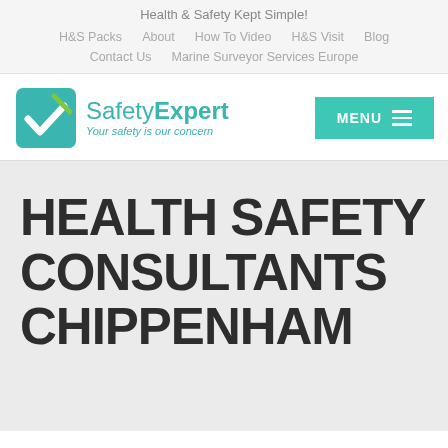Health & Safety Kept Simple!
H&S Packs   About   How To Video   H&S Visit   Blog
Contact Us   Marine Surveyor Services Europe
[Figure (logo): SafetyExpert logo with teal checkmark icon and tagline 'Your safety is our concern']
HEALTH SAFETY CONSULTANTS CHIPPENHAM